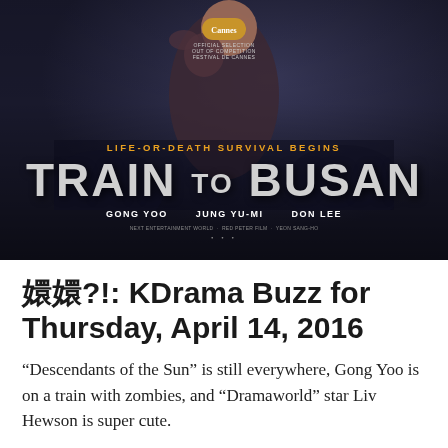[Figure (photo): Movie poster for 'Train to Busan' (Korean zombie thriller). Shows a man carrying a child, with text 'LIFE-OR-DEATH SURVIVAL BEGINS', large title 'TRAIN TO BUSAN', Cannes Film Festival official selection badge, and cast names: Gong Yoo, Jung Yu-Mi, Don Lee. Dark blue/grey cinematic background.]
[][]?!: KDrama Buzz for Thursday, April 14, 2016
“Descendants of the Sun” is still everywhere, Gong Yoo is on a train with zombies, and “Dramaworld” star Liv Hewson is super cute.